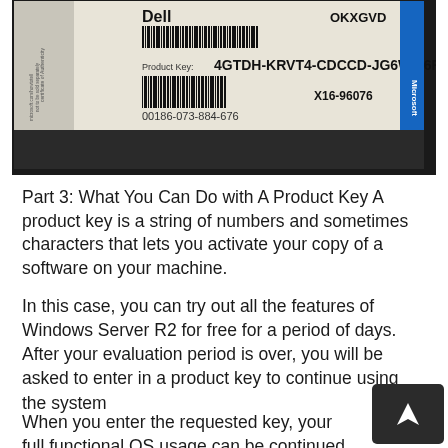[Figure (photo): Photo of a Dell product sticker/label showing a product key: 4GTDH-KRVT4-CDCCD-JG6W9-6F7YC, with barcodes, reference numbers X16-96076 and 00186-073-884-676, and OKXGVD code. Microsoft branding visible on right side.]
Part 3: What You Can Do with A Product Key A product key is a string of numbers and sometimes characters that lets you activate your copy of a software on your machine.
In this case, you can try out all the features of Windows Server R2 for free for a period of days. After your evaluation period is over, you will be asked to enter in a product key to continue using the system.
When you enter the requested key, your full functional OS usage can be continued either lifetime